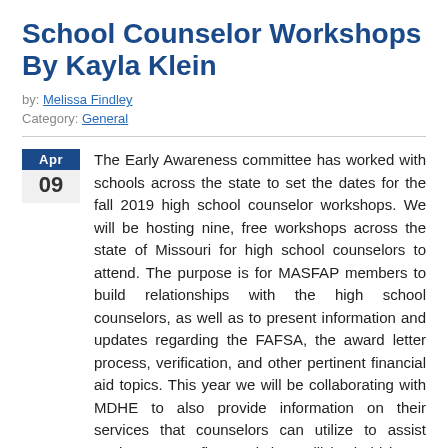School Counselor Workshops By Kayla Klein
by: Melissa Findley
Category: General
The Early Awareness committee has worked with schools across the state to set the dates for the fall 2019 high school counselor workshops. We will be hosting nine, free workshops across the state of Missouri for high school counselors to attend. The purpose is for MASFAP members to build relationships with the high school counselors, as well as to present information and updates regarding the FAFSA, the award letter process, verification, and other pertinent financial aid topics. This year we will be collaborating with MDHE to also provide information on their services that counselors can utilize to assist students. Our first workshop will be held in St. Louis on Friday, September 13 and MASFAP partners with St. Louis Graduates and EducationPlus to put on this particular workshop. All nine